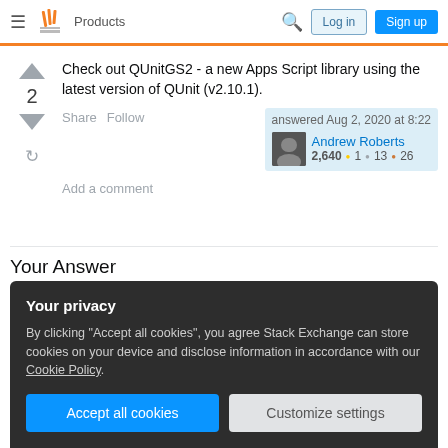[Figure (screenshot): Stack Overflow navigation bar with hamburger menu, logo, Products link, search icon, Log in button, and Sign up button]
Check out QUnitGS2 - a new Apps Script library using the latest version of QUnit (v2.10.1).
Share  Follow
answered Aug 2, 2020 at 8:22
Andrew Roberts
2,640 ● 1 ● 13 ● 26
Add a comment
Your Answer
Your privacy
By clicking "Accept all cookies", you agree Stack Exchange can store cookies on your device and disclose information in accordance with our Cookie Policy.